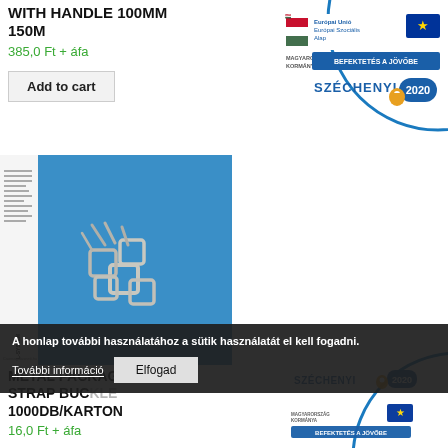WITH HANDLE 100MM 150M
385,0 Ft + áfa
Add to cart
[Figure (logo): Széchenyi 2020 logo with EU flag, Európai Unió Európai Szociális Alap, MAGYARORSZÁG KORMÁNYA, BEFEKTETÉS A JÖVŐBE, SZÉCHENYI 2020]
[Figure (photo): Metal packaging strap buckles on blue background with white label packaging]
METAL PACKAGING STRAP BUCKLE 1000DB/KARTON
16,0 Ft + áfa
A honlap további használatához a sütik használatát el kell fogadni.
További információ
Elfogad
[Figure (logo): Széchenyi 2020 logo (partial, bottom right), BEFEKTETÉS A JÖVŐBE, MAGYARORSZÁG KORMÁNYA, EU flag]